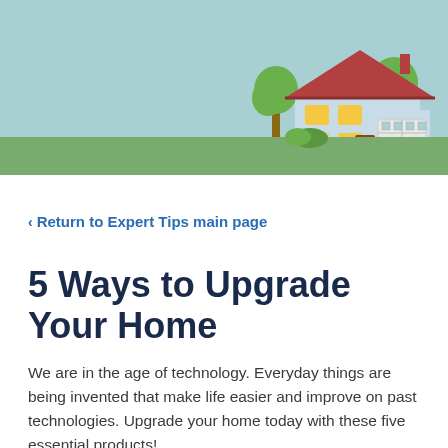[Figure (illustration): Header banner with light blue sky background, green grass strip at bottom, and an illustrated house with red roof, blue walls, yellow windows, attached garage, and two green trees on either side]
< Return to Expert Tips main page
5 Ways to Upgrade Your Home
We are in the age of technology. Everyday things are being invented that make life easier and improve on past technologies. Upgrade your home today with these five essential products!
Wall-switch timers: Tired of seeing a light on in an empty room? Install wall-switch timers that automatically turn off the lights in a room after a set d